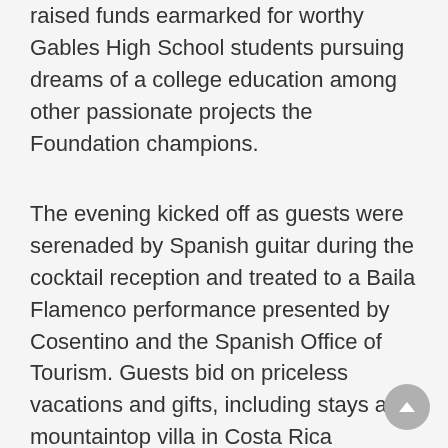raised funds earmarked for worthy Gables High School students pursuing dreams of a college education among other passionate projects the Foundation champions.
The evening kicked off as guests were serenaded by Spanish guitar during the cocktail reception and treated to a Baila Flamenco performance presented by Cosentino and the Spanish Office of Tourism. Guests bid on priceless vacations and gifts, including stays at a mountaintop villa in Costa Rica courtesy of NPI; the Rosemary Cottage on exclusive Fisher Island; a sprawling castle in Alladale, Scotland; the Al Capone suite at the Biltmore Hotel as well as a week-long stay in the private island of Seabird Key